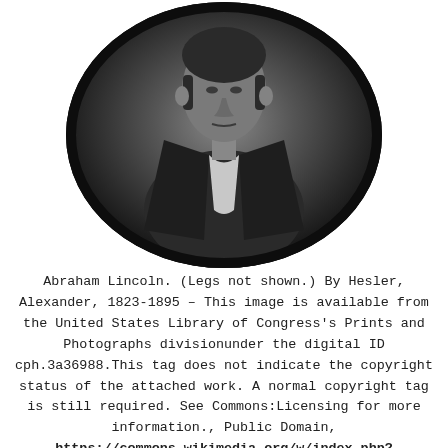[Figure (photo): Black and white oval portrait photograph of Abraham Lincoln, torso/upper body shown, wearing a dark suit with white shirt and bow tie, photographed by Alexander Hesler.]
Abraham Lincoln. (Legs not shown.) By Hesler, Alexander, 1823-1895 – This image is available from the United States Library of Congress's Prints and Photographs divisionunder the digital ID cph.3a36988.This tag does not indicate the copyright status of the attached work. A normal copyright tag is still required. See Commons:Licensing for more information., Public Domain, https://commons.wikimedia.org/w/index.php?curid=18705107